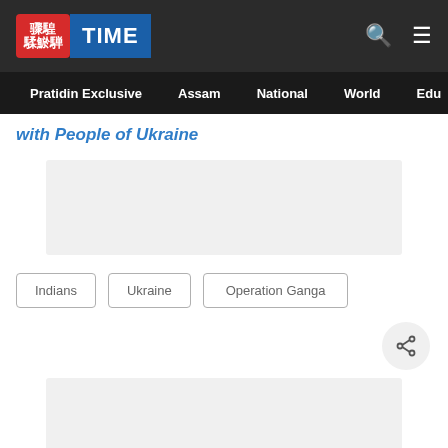Pratidin TIME — top navigation bar with logo, search and menu icons, and secondary nav: Pratidin Exclusive, Assam, National, World, Edu
with People of Ukraine
[Figure (other): Advertisement placeholder box (grey rectangle)]
Indians
Ukraine
Operation Ganga
[Figure (other): Share button (circle with share icon)]
[Figure (other): Advertisement placeholder box (grey rectangle)]